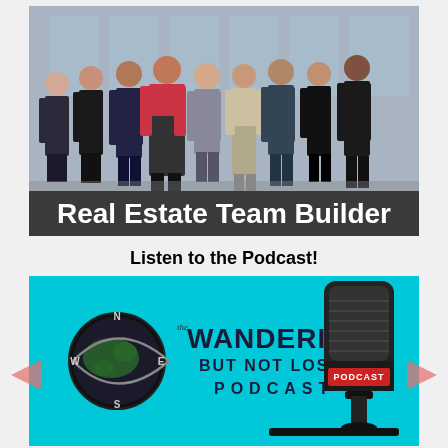[Figure (illustration): Group of business professionals walking forward in front of a glass office building. Below the photo is a dark gray banner with bold white text reading 'Real Estate Team Builder'.]
Listen to the Podcast!
[Figure (logo): Cyan/turquoise background with 'The Wandering But Not Lost Podcast' logo featuring a globe with compass directions and swoosh design on the left, and a large black professional studio microphone on the right with a red 'PODCAST' label.]